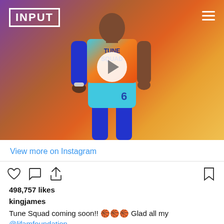[Figure (screenshot): Basketball player wearing Tune Squad jersey number 6 (teal/cyan with orange gradient design), blue arm sleeve and socks. Purple-to-orange gradient background. INPUT magazine logo in top-left corner. Hamburger menu icon top-right. White circular play button overlay in center.]
View more on Instagram
498,757 likes
kingjames
Tune Squad coming soon!! 🏀🏀🏀 Glad all my @ljfamfoundation